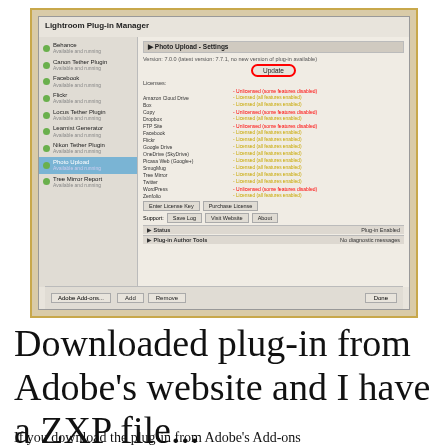[Figure (screenshot): Lightroom Plug-in Manager dialog showing a list of plugins on the left (Behance, Canon Tether Plugin, Facebook, Flickr, Locus Tether Plugin, Learnist Generator, Nikon Tether Plugin, Photo Upload selected, Tree Mirror Report) and Photo Upload Settings on the right with version info, Update button circled in red, license statuses for multiple services (some in red as Unlicensed/some features disabled, some in gold as Licensed), Enter License Key and Purchase License buttons, support row with Save Log, Visit Website, About, Status and Plug-in Author Tools sections, plus Add/Remove and Adobe Add-ons/Done buttons at the bottom.]
Downloaded plug-in from Adobe's website and I have a ZXP file...
If you download the plug-in from Adobe's Add-ons